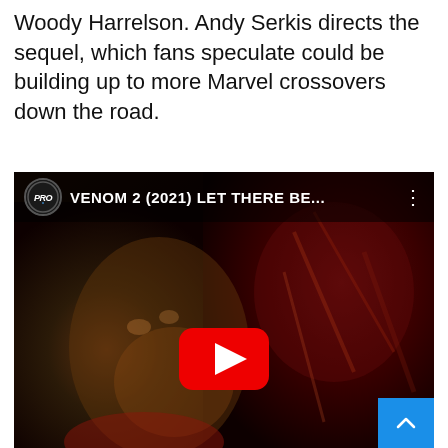Woody Harrelson. Andy Serkis directs the sequel, which fans speculate could be building up to more Marvel crossovers down the road.
[Figure (screenshot): YouTube video thumbnail embed for 'VENOM 2 (2021) LET THERE BE...' showing a man's face on the left and a dark red creature (Carnage) on the right, with a YouTube play button in the center and a blue scroll-to-top button in the bottom right corner.]